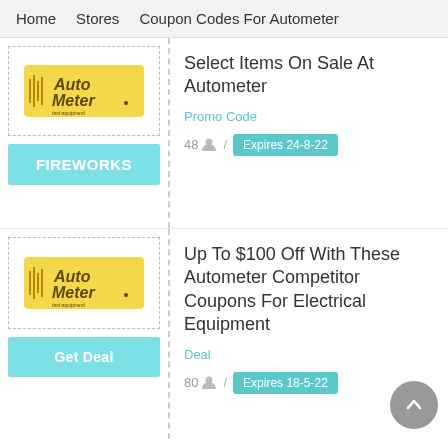Home   Stores   Coupon Codes For Autometer
Select Items On Sale At Autometer
Promo Code
48 / Expires 24-8-22
FIREWORKS
Up To $100 Off With These Autometer Competitor Coupons For Electrical Equipment
Deal
80 / Expires 18-5-22
Get Deal